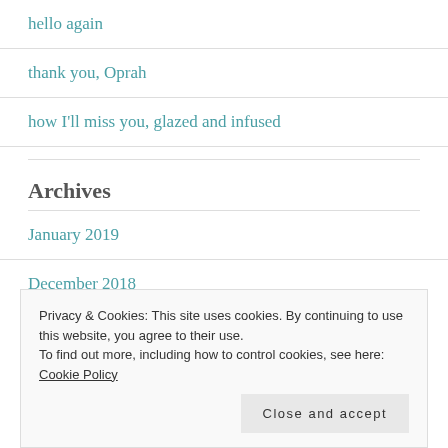hello again
thank you, Oprah
how I'll miss you, glazed and infused
Archives
January 2019
December 2018
Privacy & Cookies: This site uses cookies. By continuing to use this website, you agree to their use. To find out more, including how to control cookies, see here: Cookie Policy
Close and accept
September 2017